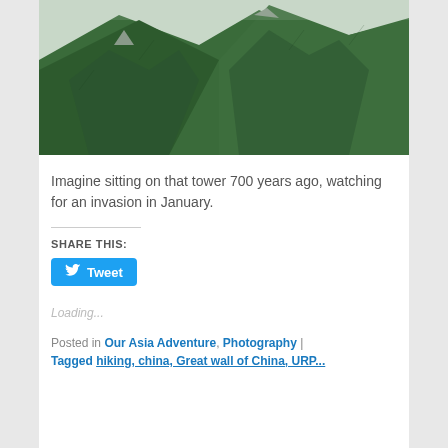[Figure (photo): A forested mountain slope with lush green trees and rocky ridgeline, viewed from a distance. The image is cropped showing the upper portion of the mountain.]
Imagine sitting on that tower 700 years ago, watching for an invasion in January.
SHARE THIS:
Loading...
Posted in Our Asia Adventure, Photography |